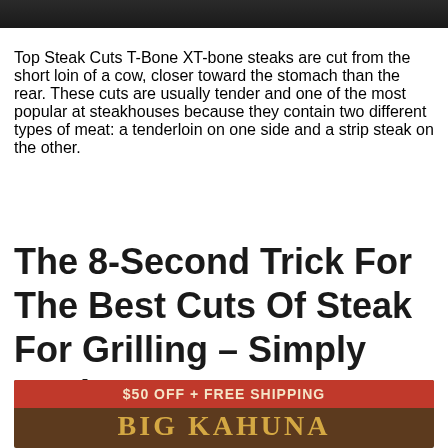[Figure (photo): Top portion of a food/steak photo, dark background, cropped at the top of the page]
Top Steak Cuts T-Bone XT-bone steaks are cut from the short loin of a cow, closer toward the stomach than the rear. These cuts are usually tender and one of the most popular at steakhouses because they contain two different types of meat: a tenderloin on one side and a strip steak on the other.
The 8-Second Trick For The Best Cuts Of Steak For Grilling – Simply Recipes
[Figure (infographic): Advertisement banner with dark wood background showing '$50 OFF + FREE SHIPPING' in a red ribbon and 'BIG KAHUNA' in large gold letters]